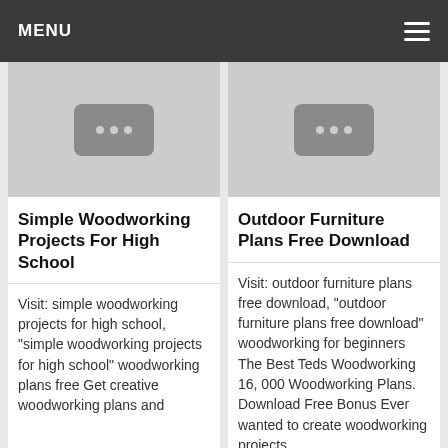MENU
[Figure (screenshot): Thumbnail placeholder for Simple Woodworking Projects For High School with a video icon]
Simple Woodworking Projects For High School
Visit: simple woodworking projects for high school, "simple woodworking projects for high school" woodworking plans free Get creative woodworking plans and
[Figure (screenshot): Thumbnail placeholder for Outdoor Furniture Plans Free Download with a video icon]
Outdoor Furniture Plans Free Download
Visit: outdoor furniture plans free download, "outdoor furniture plans free download" woodworking for beginners The Best Teds Woodworking 16, 000 Woodworking Plans. Download Free Bonus Ever wanted to create woodworking projects